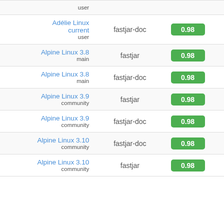| Distribution | Package | Version |
| --- | --- | --- |
| (partial top row) user |  |  |
| Adélie Linux current
user | fastjar-doc | 0.98 |
| Alpine Linux 3.8
main | fastjar | 0.98 |
| Alpine Linux 3.8
main | fastjar-doc | 0.98 |
| Alpine Linux 3.9
community | fastjar | 0.98 |
| Alpine Linux 3.9
community | fastjar-doc | 0.98 |
| Alpine Linux 3.10
community | fastjar-doc | 0.98 |
| Alpine Linux 3.10
community | fastjar | 0.98 |